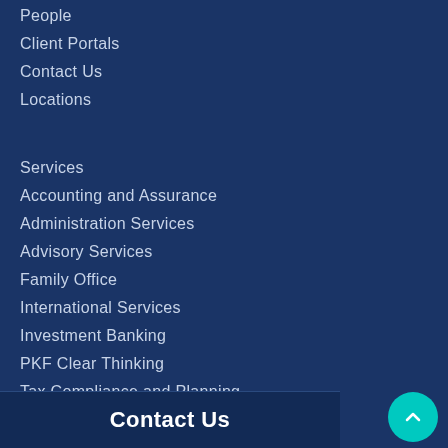People
Client Portals
Contact Us
Locations
Services
Accounting and Assurance
Administration Services
Advisory Services
Family Office
International Services
Investment Banking
PKF Clear Thinking
Tax Compliance and Planning
Contact Us